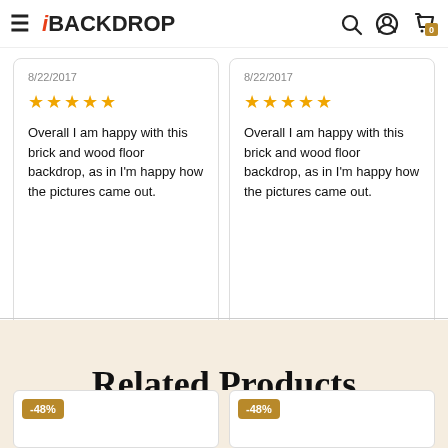iBackdrop navigation header with hamburger menu, search, user, and cart icons
8/22/2017
★★★★★
Overall I am happy with this brick and wood floor backdrop, as in I'm happy how the pictures came out.
8/22/2017
★★★★★
Overall I am happy with this brick and wood floor backdrop, as in I'm happy how the pictures came out.
Related Products
[Figure (other): Product card with -48% discount badge]
[Figure (other): Product card with -48% discount badge]